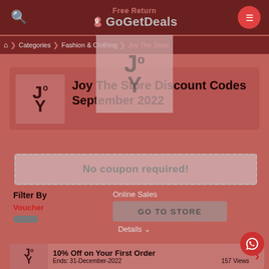Free Return GoGetDeals
Categories > Fashion & Clothing > Joy The Store
[Figure (logo): Joy The Store logo overlay at top center]
Joy The Store Discount Codes September 2022
No coupon required!
Filter By
Voucher
Online Sales
GO TO STORE
Details
10% Off on Your First Order
Ends: 31-December-2022
157 Views